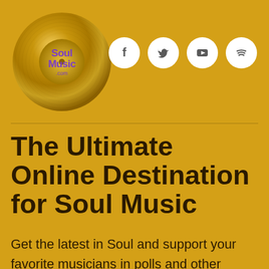[Figure (logo): Soul Music .com logo — gold vinyl record with purple text 'Soul Music.com' overlaid]
[Figure (infographic): Four white circular social media icons: Facebook (f), Twitter (bird), YouTube (play button), Spotify (sound waves)]
The Ultimate Online Destination for Soul Music
Get the latest in Soul and support your favorite musicians in polls and other events when signing